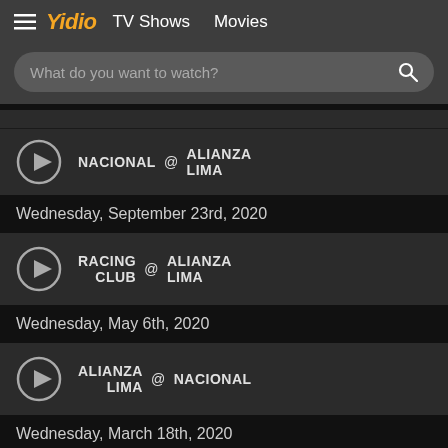Yidio  TV Shows  Movies
What do you want to watch?
NACIONAL @ ALIANZA LIMA
Wednesday, September 23rd, 2020
RACING CLUB @ ALIANZA LIMA
Wednesday, May 6th, 2020
ALIANZA LIMA @ NACIONAL
Wednesday, March 18th, 2020